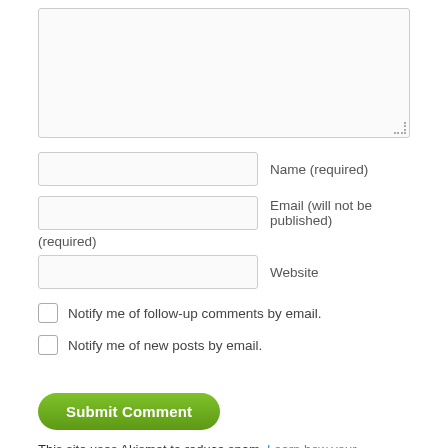[Figure (screenshot): Comment form textarea (large text input box, mostly empty, with resize handle in bottom right corner)]
Name (required)
Email (will not be published)
(required)
Website
Notify me of follow-up comments by email.
Notify me of new posts by email.
Submit Comment
This site uses Akismet to reduce spam. Learn how your comment data is processed.